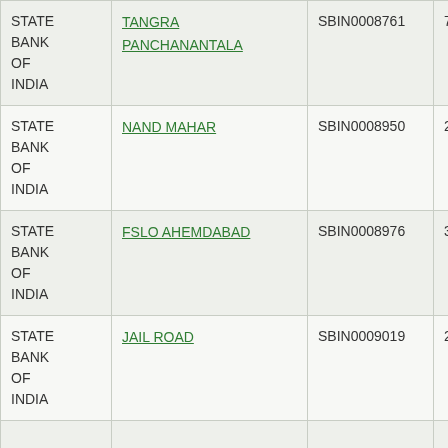| Bank | Branch | IFSC | PIN |
| --- | --- | --- | --- |
| STATE BANK OF INDIA | TANGRA PANCHANANTALA | SBIN0008761 | 700002179 |
| STATE BANK OF INDIA | NAND MAHAR | SBIN0008950 | 227002010 |
| STATE BANK OF INDIA | FSLO AHEMDABAD | SBIN0008976 | 380002999 |
| STATE BANK OF INDIA | JAIL ROAD | SBIN0009019 | 226002022 |